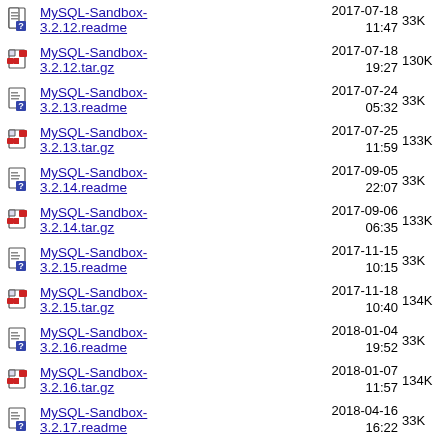MySQL-Sandbox-3.2.12.readme  2017-07-18 11:47  33K
MySQL-Sandbox-3.2.12.tar.gz  2017-07-18 19:27  130K
MySQL-Sandbox-3.2.13.readme  2017-07-24 05:32  33K
MySQL-Sandbox-3.2.13.tar.gz  2017-07-25 11:59  133K
MySQL-Sandbox-3.2.14.readme  2017-09-05 22:07  33K
MySQL-Sandbox-3.2.14.tar.gz  2017-09-06 06:35  133K
MySQL-Sandbox-3.2.15.readme  2017-11-15 10:15  33K
MySQL-Sandbox-3.2.15.tar.gz  2017-11-18 10:40  134K
MySQL-Sandbox-3.2.16.readme  2018-01-04 19:52  33K
MySQL-Sandbox-3.2.16.tar.gz  2018-01-07 11:57  134K
MySQL-Sandbox-3.2.17.readme  2018-04-16 16:22  33K
MySQL-Sandbox-3.2.17.tar.gz  2018-04-16  131K